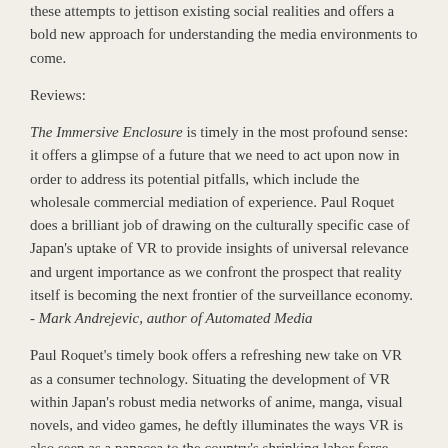these attempts to jettison existing social realities and offers a bold new approach for understanding the media environments to come.
Reviews:
The Immersive Enclosure is timely in the most profound sense: it offers a glimpse of a future that we need to act upon now in order to address its potential pitfalls, which include the wholesale commercial mediation of experience. Paul Roquet does a brilliant job of drawing on the culturally specific case of Japan's uptake of VR to provide insights of universal relevance and urgent importance as we confront the prospect that reality itself is becoming the next frontier of the surveillance economy. - Mark Andrejevic, author of Automated Media
Paul Roquet's timely book offers a refreshing new take on VR as a consumer technology. Situating the development of VR within Japan's robust media networks of anime, manga, visual novels, and video games, he deftly illuminates the ways VR is also seen as a panacea to the country's shrinking labor force.